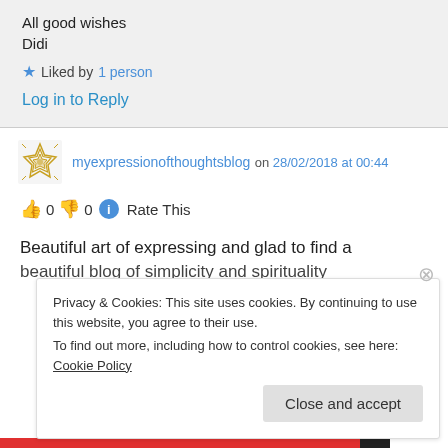All good wishes
Didi
★ Liked by 1 person
Log in to Reply
myexpressionofthoughtsblog on 28/02/2018 at 00:44
👍 0 👎 0 ℹ Rate This
Beautiful art of expressing and glad to find a beautiful blog of simplicity and spirituality
Privacy & Cookies: This site uses cookies. By continuing to use this website, you agree to their use.
To find out more, including how to control cookies, see here: Cookie Policy
Close and accept